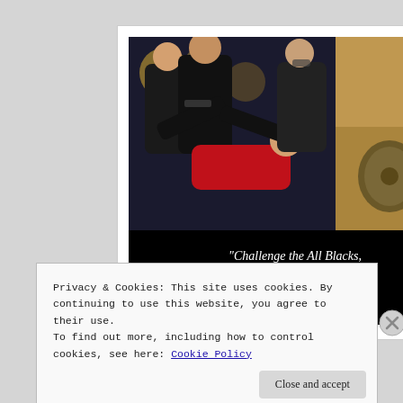[Figure (photo): Composite image: left half shows rugby players in black jerseys tackling a player in red; right half shows a Spartan warrior in armor holding a spear and shield. Below the images on a black background: text reading '"Challenge the All Blacks, This is madness!"']
Privacy & Cookies: This site uses cookies. By continuing to use this website, you agree to their use.
To find out more, including how to control cookies, see here: Cookie Policy